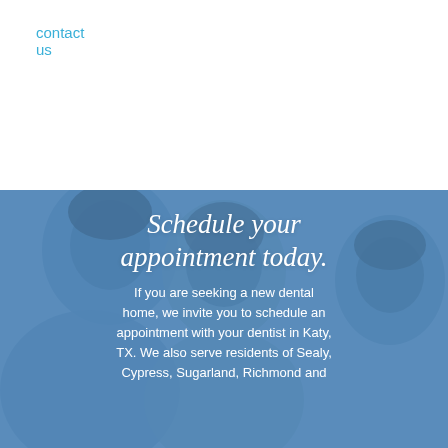contact us
[Figure (photo): Blue-tinted photo of a smiling family (man, woman, child) overlaid with dental office call-to-action text]
Schedule your appointment today.
If you are seeking a new dental home, we invite you to schedule an appointment with your dentist in Katy, TX. We also serve residents of Sealy, Cypress, Sugarland, Richmond and